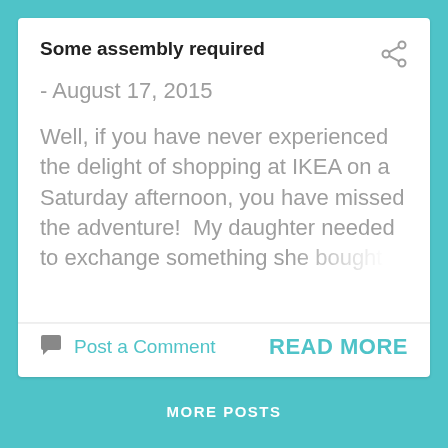Some assembly required
- August 17, 2015
Well, if you have never experienced the delight of shopping at IKEA on a Saturday afternoon, you have missed the adventure!  My daughter needed to exchange something she bought
Post a Comment
READ MORE
MORE POSTS